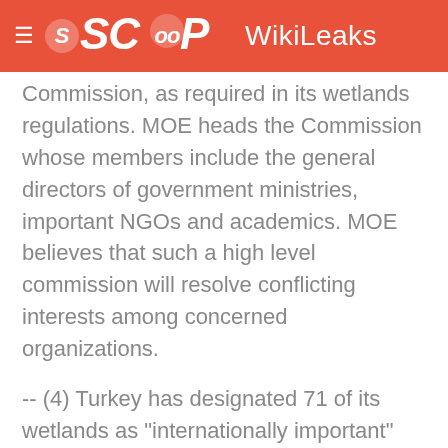SCOOP WikiLeaks
Commission, as required in its wetlands regulations. MOE heads the Commission whose members include the general directors of government ministries, important NGOs and academics. MOE believes that such a high level commission will resolve conflicting interests among concerned organizations.
-- (4) Turkey has designated 71 of its wetlands as "internationally important" following Ramsar criteria